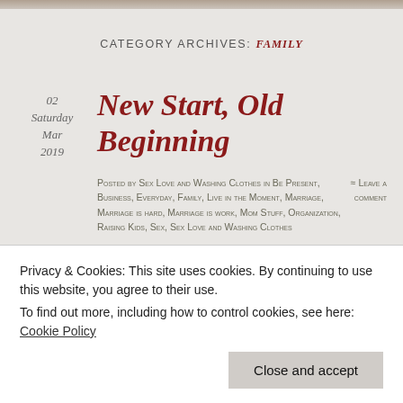[Figure (photo): Decorative header image at top of page]
CATEGORY ARCHIVES: FAMILY
02
Saturday
Mar
2019
New Start, Old Beginning
Posted by Sex Love and Washing Clothes in Be Present, Business, Everyday, Family, Live in the Moment, Marriage, Marriage is hard, Marriage is work, Mom Stuff, Organization, Raising Kids, Sex, Sex Love and Washing Clothes Tags...
≈ Leave a comment
Privacy & Cookies: This site uses cookies. By continuing to use this website, you agree to their use.
To find out more, including how to control cookies, see here: Cookie Policy
Close and accept